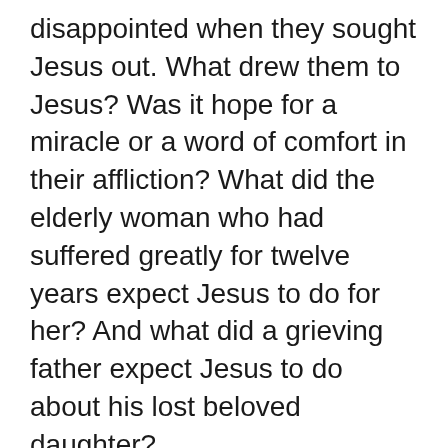disappointed when they sought Jesus out. What drew them to Jesus? Was it hope for a miracle or a word of comfort in their affliction? What did the elderly woman who had suffered greatly for twelve years expect Jesus to do for her? And what did a grieving father expect Jesus to do about his lost beloved daughter?
Words of hope directed to God
Jesus gave hope where there seemed to be no human cause for it because his hope